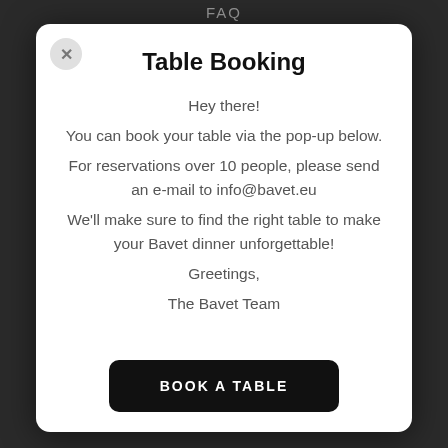FAQ
Table Booking
Hey there!
You can book your table via the pop-up below.
For reservations over 10 people, please send an e-mail to info@bavet.eu
We'll make sure to find the right table to make your Bavet dinner unforgettable!
Greetings,
The Bavet Team
BOOK A TABLE